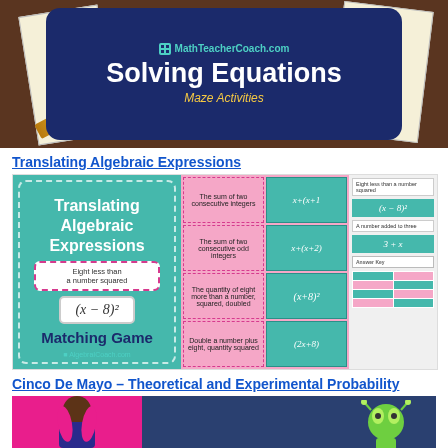[Figure (illustration): MathTeacherCoach.com promotional image for Solving Equations Maze Activities, showing a dark blue banner with title over worksheet papers and a pencil on a wood table background]
Translating Algebraic Expressions
[Figure (illustration): Translating Algebraic Expressions Matching Game card set from AlgebraICoach.com, showing teal and pink cards with phrases like 'The sum of two consecutive integers' matched to expressions like x+(x+1), (x-8)^2, (x+8)^2, (2x+8)]
Cinco De Mayo – Theoretical and Experimental Probability
[Figure (illustration): Bottom strip showing a Cinco De Mayo probability activity with pink background on left and dark navy on right, featuring a cartoon girl and alien character]